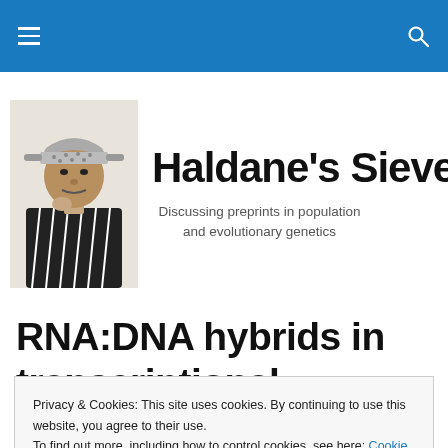Haldane's Sieve — navigation bar
[Figure (illustration): Black and white illustration/photo of a man (Haldane) with a colander on his head, resting his chin on his hand, wearing a striped jacket]
Haldane's Sieve
Discussing preprints in population and evolutionary genetics
RNA:DNA hybrids in the human genome have
Privacy & Cookies: This site uses cookies. By continuing to use this website, you agree to their use.
To find out more, including how to control cookies, see here: Cookie Policy
transcriptional relationships